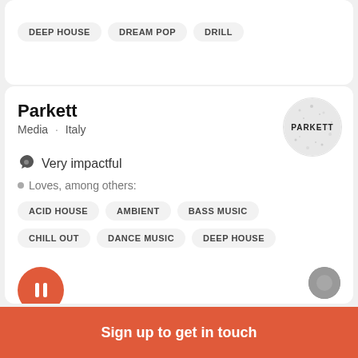DEEP HOUSE
DREAM POP
DRILL
Parkett
Media · Italy
Very impactful
Loves, among others:
ACID HOUSE
AMBIENT
BASS MUSIC
CHILL OUT
DANCE MUSIC
DEEP HOUSE
Sign up to get in touch